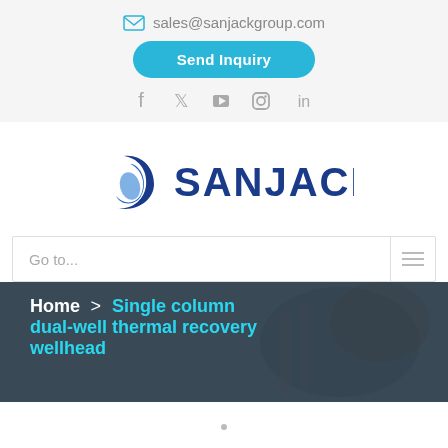sales@sanjackgroup.com
Send Inquiry
[Figure (logo): Sanjack company logo with blue wave/swirl icon and SANJACK text]
Go to...
Home > Single column dual-well thermal recovery wellhead